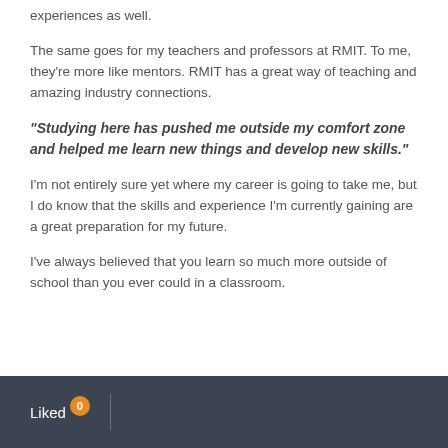experiences as well.
The same goes for my teachers and professors at RMIT. To me, they’re more like mentors. RMIT has a great way of teaching and amazing industry connections.
“Studying here has pushed me outside my comfort zone and helped me learn new things and develop new skills.”
I’m not entirely sure yet where my career is going to take me, but I do know that the skills and experience I’m currently gaining are a great preparation for my future.
I’ve always believed that you learn so much more outside of school than you ever could in a classroom.
Liked 0